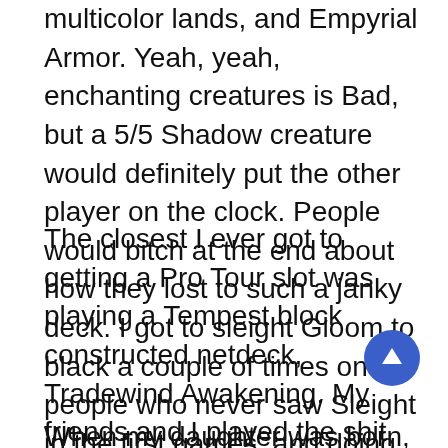multicolor lands, and Empyrial Armor. Yeah, yeah, enchanting creatures is Bad, but a 5/5 Shadow creature would definitely put the other player on the clock. People would bitch at the end about how they lost to such a janky deck. I got to sleight Gloom to black a couple of times on people who never saw Sleight in the first games, and doing that would make my day.
The closest I ever got to getting a Pro Tour slot was playing a Tempest block constructed netdeck, Tradewind Awakening. My friends and I played the shit out of our decks until we knew how to play them. But I screwed up my decklist, and when they deck-checked me at 5-0, they found an error in the sideboard listing. That put me at 5-1 and no sideboard. No top-eight for me.
When my daughter was born, that was it for me.